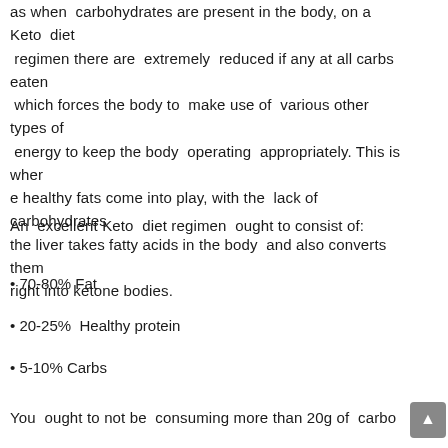as when carbohydrates are present in the body, on a Keto diet regimen there are extremely reduced if any at all carbs eaten which forces the body to make use of various other types of energy to keep the body operating appropriately. This is where healthy fats come into play, with the lack of carbohydrates the liver takes fatty acids in the body and also converts them right into ketone bodies.
An excellent Keto diet regimen ought to consist of:
• 70-80% Fat
• 20-25% Healthy protein
• 5-10% Carbs
You ought to not be consuming more than 20g of carbo